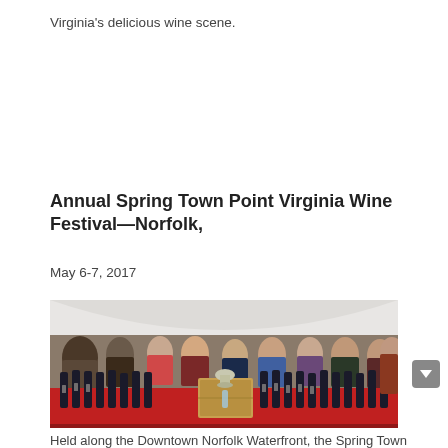Virginia's delicious wine scene.
Annual Spring Town Point Virginia Wine Festival—Norfolk,
May 6-7, 2017
[Figure (photo): Crowd of people at an outdoor wine festival under a white tent, standing around a long table draped in red cloth covered with many wine bottles. A trophy/cup and wooden box are visible on the table. People are dressed in casual outdoor attire.]
Held along the Downtown Norfolk Waterfront, the Spring Town